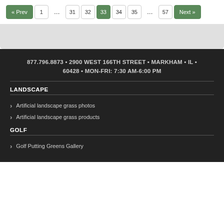« Prev  1  ...  31  32  33  34  35  ...  57  Next »
877.796.8873 • 2900 WEST 166TH STREET • MARKHAM • IL • 60428 • MON-FRI: 7:30 AM-6:00 PM
LANDSCAPE
Artificial landscape grass photos
Artificial landscape grass products
GOLF
Golf Putting Greens Gallery